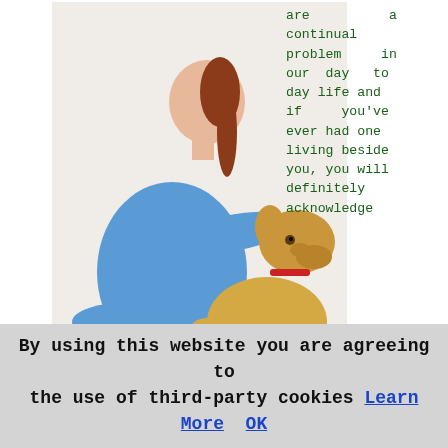[Figure (photo): A veterinarian or vet technician in blue scrubs kneeling and examining or feeding a golden Labrador dog that is sitting and facing her, on a white background.]
are a continual problem in our day to day life and if you've ever had one living beside you, you will definitely acknowledge exactly how galling that can be, the truth is it can literally ruin your life if you are at home all day. You should understand it is entirely natural and normal for a dog to bark, it's meant to express excitement and as a warning and is among their most critical forms of expression. Unnecessary barking, should signal that there's something not right in the dog's daily life, it is a sign that a dog is lacking stimulation or bored.
Pet owners routinely and unintentionally teach barking in their dogs by reinforcing behaviour. For instance, if your
By using this website you are agreeing to the use of third-party cookies Learn More OK